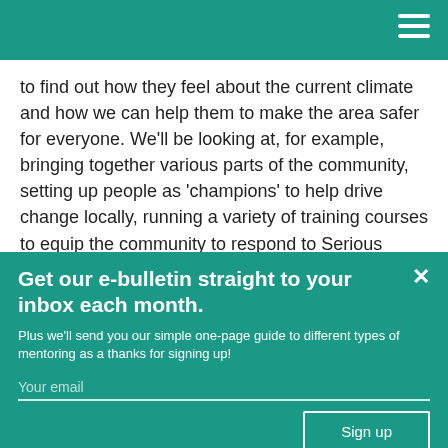to find out how they feel about the current climate and how we can help them to make the area safer for everyone. We’ll be looking at, for example, bringing together various parts of the community, setting up people as ‘champions’ to help drive change locally, running a variety of training courses to equip the community to respond to Serious Youth Violence, and laying the groundwork for longer-term initiatives to
Get our e-bulletin straight to your inbox each month.
Plus we'll send you our simple one-page guide to different types of mentoring as a thanks for signing up!
Your email
Sign up